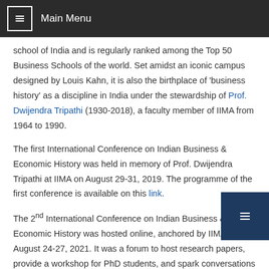Main Menu
school of India and is regularly ranked among the Top 50 Business Schools of the world. Set amidst an iconic campus designed by Louis Kahn, it is also the birthplace of 'business history' as a discipline in India under the stewardship of Prof. Dwijendra Tripathi (1930-2018), a faculty member of IIMA from 1964 to 1990.
The first International Conference on Indian Business & Economic History was held in memory of Prof. Dwijendra Tripathi at IIMA on August 29-31, 2019. The programme of the first conference is available on this link.
The 2nd International Conference on Indian Business & Economic History was hosted online, anchored by IIMA, on August 24-27, 2021. It was a forum to host research papers, provide a workshop for PhD students, and spark conversations on this subject. The conference drew in leading